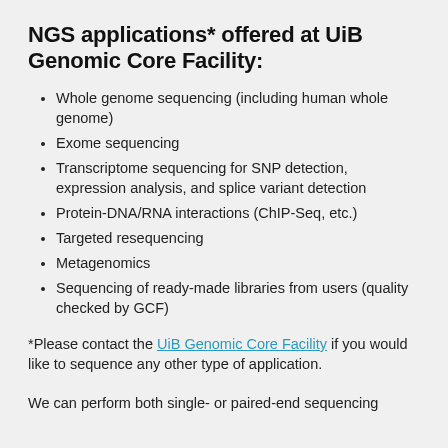NGS applications* offered at UiB Genomic Core Facility:
Whole genome sequencing (including human whole genome)
Exome sequencing
Transcriptome sequencing for SNP detection, expression analysis, and splice variant detection
Protein-DNA/RNA interactions (ChIP-Seq, etc.)
Targeted resequencing
Metagenomics
Sequencing of ready-made libraries from users (quality checked by GCF)
*Please contact the UiB Genomic Core Facility if you would like to sequence any other type of application.
We can perform both single- or paired-end sequencing